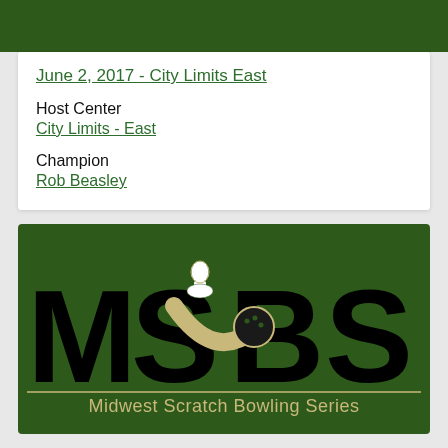June 2, 2017 - City Limits East
Host Center
City Limits - East
Champion
Rob Beasley
[Figure (logo): MSBS Midwest Scratch Bowling Series logo — large black block letters MSBS on dark green background with a bowling pin and ball graphic, and text 'Midwest Scratch Bowling Series' below]